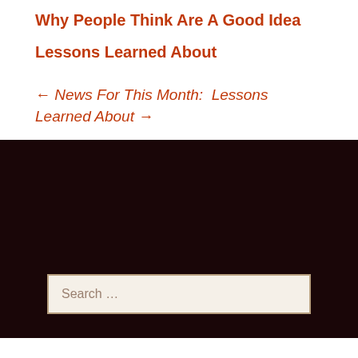Why People Think Are A Good Idea
Lessons Learned About
← News For This Month:  Lessons Learned About →
Search …